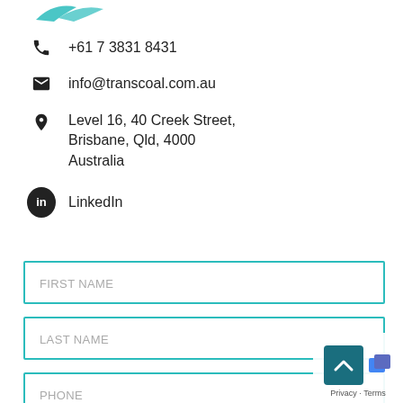[Figure (logo): Transcoal company logo - partial teal/blue swoosh visible at top left]
+61 7 3831 8431
info@transcoal.com.au
Level 16, 40 Creek Street, Brisbane, Qld, 4000 Australia
LinkedIn
FIRST NAME
LAST NAME
PHONE